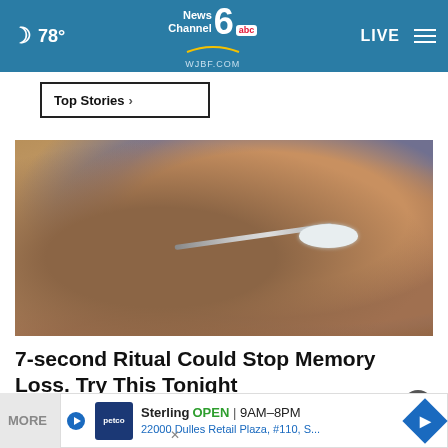🌙 78° | NewsChannel 6 abc WJBF.COM | LIVE ☰
Top Stories ›
[Figure (photo): Close-up photo of elderly hands holding a spoon with white powder/substance on it, person wearing gray shirt in background]
7-second Ritual Could Stop Memory Loss. Try This Tonight
Ad by Trending New Finds
MORE | Sterling OPEN 9AM–8PM 22000 Dulles Retail Plaza, #110, S... [Petco ad banner with navigation arrow]